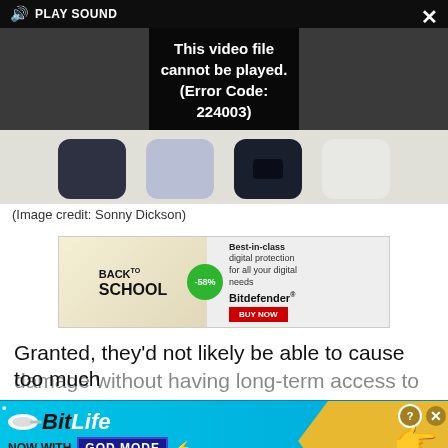[Figure (screenshot): Video player showing error message overlay: 'This video file cannot be played. (Error Code: 224003)' with PLAY SOUND button at top and close/expand icons]
[Figure (photo): Four iPhone color swatches in a row on light surface: dark navy, light blue/white, dark navy/black, white]
(Image credit: Sonny Dickson)
[Figure (screenshot): Bitdefender Back to School advertisement: -58% discount badge, 'Best-in-class digital protection for all your digital needs', BUY NOW button]
Granted, they'd not likely be able to cause too much
[Figure (screenshot): BitLife mobile game advertisement: 'NOW WITH GOD MODE' on blue background with lightning bolt graphic and pointing hand]